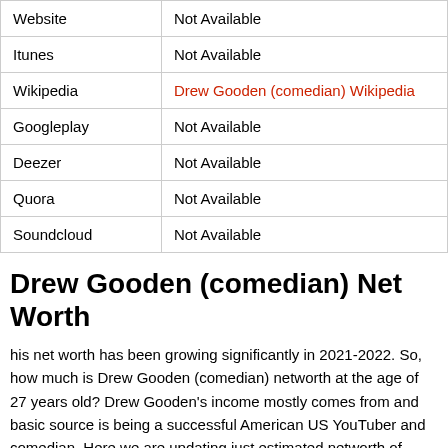|  |  |
| --- | --- |
| Website | Not Available |
| Itunes | Not Available |
| Wikipedia | Drew Gooden (comedian) Wikipedia |
| Googleplay | Not Available |
| Deezer | Not Available |
| Quora | Not Available |
| Soundcloud | Not Available |
Drew Gooden (comedian) Net Worth
his net worth has been growing significantly in 2021-2022. So, how much is Drew Gooden (comedian) networth at the age of 27 years old? Drew Gooden's income mostly comes from and basic source is being a successful American US YouTuber and comedian. Here we are updating just estimated networth of